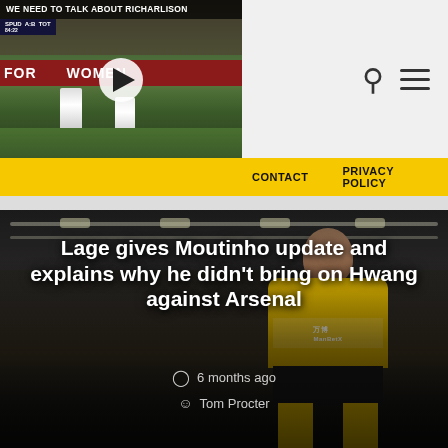[Figure (screenshot): Video thumbnail showing football players on pitch with play button overlay. Title reads 'We Need To Talk About Richarlison'. Red billboard strip with text 'FOR' and 'WOMEN' visible.]
CONTACT   PRIVACY POLICY
[Figure (photo): Dark stadium photo showing a Wolverhampton Wanderers player in yellow kit with ManBetX sponsor and Wolves badge, taken at Molineux stadium]
Lage gives Moutinho update and explains why he didn't bring on Hwang against Arsenal
6 months ago
Tom Procter